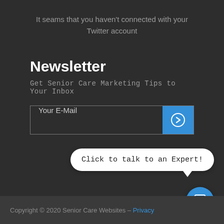It seams that you haven't connected with your Twitter account
Newsletter
Get Senior Care Marketing Tips to Your Inbox
[Figure (screenshot): Email subscription form with text input labeled 'Your E-Mail' and a blue submit button with a right-arrow icon]
[Figure (infographic): White rounded chat bubble with text 'Click to talk to an Expert!' and a blue circular chat icon button below]
Copyright © 2020 Senior Care Websites – Privacy